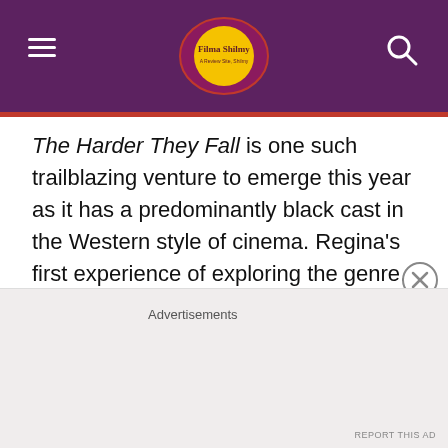Filma Shilmy
The Harder They Fall is one such trailblazing venture to emerge this year as it has a predominantly black cast in the Western style of cinema. Regina's first experience of exploring the genre.
Her character is powerful yet dark in equal measure as an outlaw gang member, Trudy Smith. Recognising a fine film, willing to give it...
Advertisements